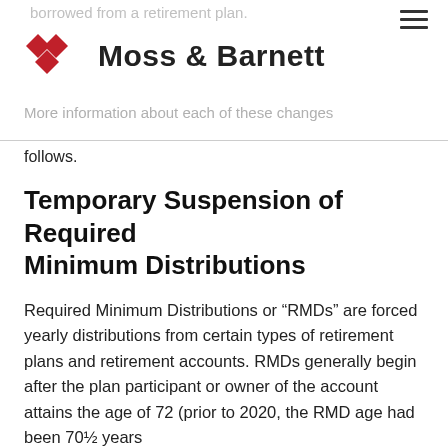borrowed from a retirement plan.
Moss & Barnett
More information about each of these changes
follows.
Temporary Suspension of Required Minimum Distributions
Required Minimum Distributions or “RMDs” are forced yearly distributions from certain types of retirement plans and retirement accounts. RMDs generally begin after the plan participant or owner of the account attains the age of 72 (prior to 2020, the RMD age had been 70½ years